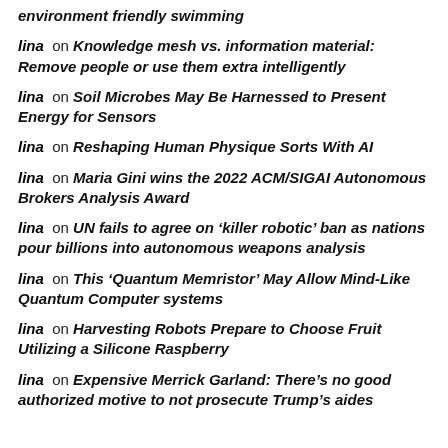environment friendly swimming
lina on Knowledge mesh vs. information material: Remove people or use them extra intelligently
lina on Soil Microbes May Be Harnessed to Present Energy for Sensors
lina on Reshaping Human Physique Sorts With AI
lina on Maria Gini wins the 2022 ACM/SIGAI Autonomous Brokers Analysis Award
lina on UN fails to agree on ‘killer robotic’ ban as nations pour billions into autonomous weapons analysis
lina on This ‘Quantum Memristor’ May Allow Mind-Like Quantum Computer systems
lina on Harvesting Robots Prepare to Choose Fruit Utilizing a Silicone Raspberry
lina on Expensive Merrick Garland: There’s no good authorized motive to not prosecute Trump’s aides